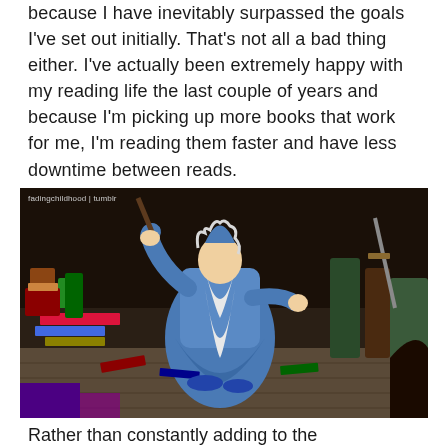because I have inevitably surpassed the goals I've set out initially. That's not all a bad thing either. I've actually been extremely happy with my reading life the last couple of years and because I'm picking up more books that work for me, I'm reading them faster and have less downtime between reads.
[Figure (illustration): Animated cartoon illustration of a wizard or sorcerer in a blue robe holding a staff/wand, surrounded by books and magical items. Watermark reads 'fadingchildhood | tumblr']
Rather than constantly adding to the